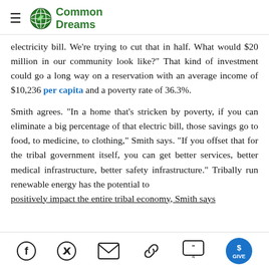Common Dreams
electricity bill. We're trying to cut that in half. What would $20 million in our community look like?" That kind of investment could go a long way on a reservation with an average income of $10,236 per capita and a poverty rate of 36.3%.
Smith agrees. "In a home that's stricken by poverty, if you can eliminate a big percentage of that electric bill, those savings go to food, to medicine, to clothing," Smith says. "If you offset that for the tribal government itself, you can get better services, better medical infrastructure, better safety infrastructure." Tribally run renewable energy has the potential to positively impact the entire tribal economy, Smith says
Social share icons: Facebook, Twitter, Email, Link, Comments (4), Give